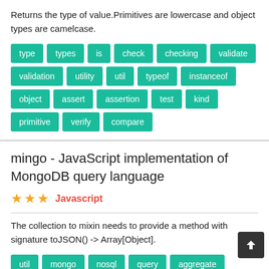Returns the type of value.Primitives are lowercase and object types are camelcase.
type
types
is
check
checking
validate
validation
utility
util
typeof
instanceof
object
assert
assertion
test
kind
primitive
verify
compare
mingo - JavaScript implementation of MongoDB query language
★★★  Javascript
The collection to mixin needs to provide a method with signature toJSON() -> Array[Object].
util
mongo
nosql
query
aggregate
filter
group
project
search
transform